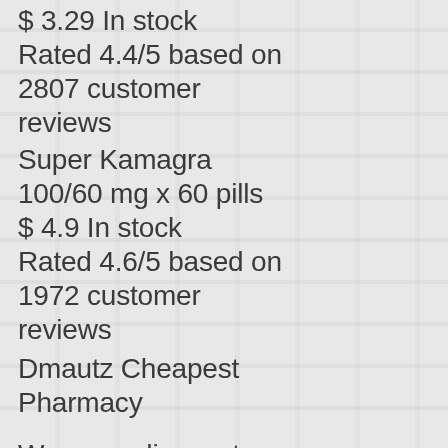$ 3.29 In stock
Rated 4.4/5 based on 2807 customer reviews
Super Kamagra 100/60 mg x 60 pills
$ 4.9 In stock
Rated 4.6/5 based on 1972 customer reviews
Dmautz Cheapest Pharmacy
We are a discount online pharmacy. Licensed Drugstore. World wide shipping